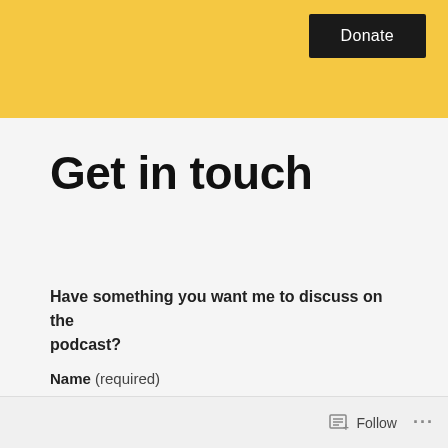[Figure (other): Yellow banner header area with a black Donate button on the right]
Get in touch
Have something you want me to discuss on the podcast?
Name (required)
Follow ...